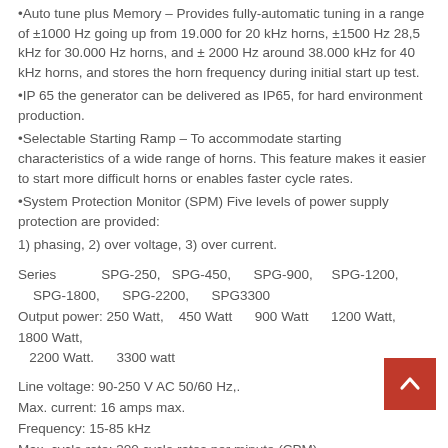Auto tune plus Memory – Provides fully-automatic tuning in a range of ±1000 Hz going up from 19.000 for 20 kHz horns, ±1500 Hz 28,5 kHz for 30.000 Hz horns, and ± 2000 Hz around 38.000 kHz for 40 kHz horns, and stores the horn frequency during initial start up test.
IP 65 the generator can be delivered as IP65, for hard environment production.
Selectable Starting Ramp – To accommodate starting characteristics of a wide range of horns. This feature makes it easier to start more difficult horns or enables faster cycle rates.
System Protection Monitor (SPM) Five levels of power supply protection are provided:
1) phasing, 2) over voltage, 3) over current.
Series    SPG-250,  SPG-450,    SPG-900,   SPG-1200,   SPG-1800,   SPG-2200,   SPG3300
Output power: 250 Watt,   450 Watt    900 Watt    1200 Watt,   1800 Watt,   2200 Watt.   3300 watt
Line voltage: 90-250 V AC 50/60 Hz,.
Max. current: 16 amps max.
Frequency: 15-85 kHz
Max. cycle rate: 300 cycle rates per minute (CPM)
Ambient temp. range: 41-158° F (5-70°C)